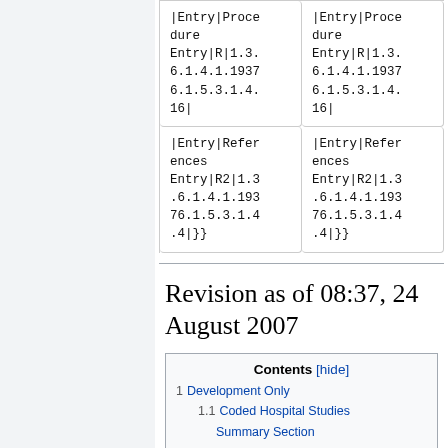| |Entry|Procedure Entry|R|1.3.6.1.4.1.19376.1.5.3.1.4.16| | |Entry|Procedure Entry|R|1.3.6.1.4.1.19376.1.5.3.1.4.16| |
| |Entry|References Entry|R2|1.3.6.1.4.1.19376.1.5.3.1.4.4|}} | |Entry|References Entry|R2|1.3.6.1.4.1.19376.1.5.3.1.4.4|}} |
Revision as of 08:37, 24 August 2007
Contents [hide]
1 Development Only
1.1 Coded Hospital Studies
Summary Section